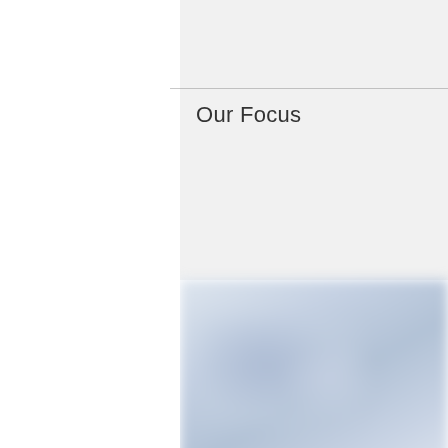About Us
Our Focus
[Figure (photo): Partially visible right panel with light gray background at top, a blurred blue-toned photo in the middle section, a blurred colorful image with red and dark tones below, and partial blurred content at the bottom edge. The panel is cropped on the right side of the page.]